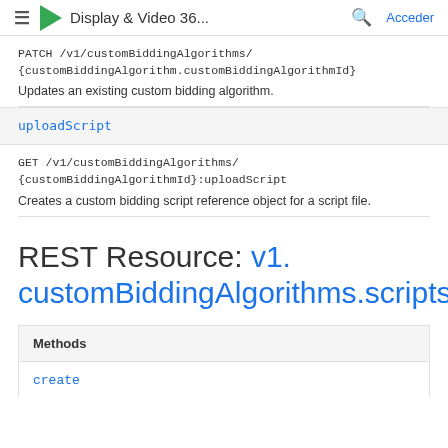≡  Display & Video 36...  🔍  Acceder
PATCH /v1/customBiddingAlgorithms/{customBiddingAlgorithm.customBiddingAlgorithmId}
Updates an existing custom bidding algorithm.
uploadScript
GET /v1/customBiddingAlgorithms/{customBiddingAlgorithmId}:uploadScript
Creates a custom bidding script reference object for a script file.
REST Resource: v1.customBiddingAlgorithms.scripts
| Methods |
| --- |
| create |
create